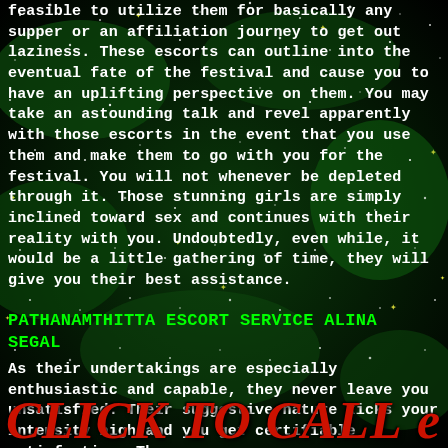feasible to utilize them for basically any supper or an affiliation journey to get out laziness. These escorts can outline into the eventual fate of the festival and cause you to have an uplifting perspective on them. You may take an astounding talk and revel apparently with those escorts in the event that you use them and make them to go with you for the festival. You will not whenever be depleted through it. Those stunning girls are simply inclined toward sex and continues with their reality with you. Undoubtedly, even while, it would be a little gathering of time, they will give you their best assistance.
PATHANAMTHITTA ESCORT SERVICE ALINA SEGAL
As their undertakings are especially enthusiastic and capable, they never leave you unsatisfied. Their suggestive nature kicks your intensity high and you get certifiable satisfaction. There are
CLICK TO CALL e